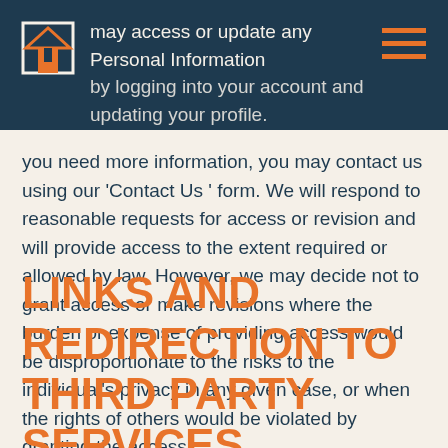may access or update any Personal Information by logging into your account and updating your profile.
you need more information, you may contact us using our 'Contact Us  ' form. We will respond to reasonable requests for access or revision and will provide access to the extent required or allowed by law. However, we may decide not to grant access or make revisions where the burden or expense of providing access would be disproportionate to the risks to the individual's privacy in any given case, or when the rights of others would be violated by granting the access.
LINKS AND REDIRECTION TO THIRD PARTY SERVICES